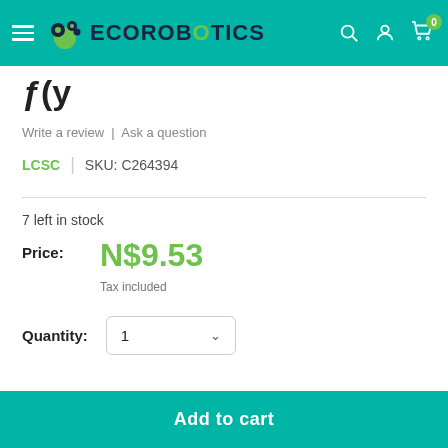ECOROBOTICS
ƒ(y
Write a review | Ask a question
LCSC | SKU: C264394
7 left in stock
Price: N$9.53 Tax included
Quantity: 1
Add to cart